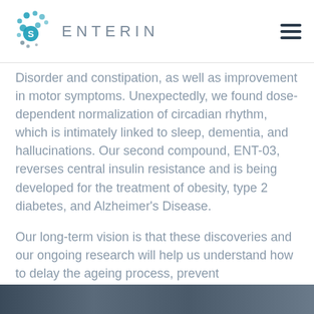ENTERIN
Disorder and constipation, as well as improvement in motor symptoms. Unexpectedly, we found dose-dependent normalization of circadian rhythm, which is intimately linked to sleep, dementia, and hallucinations. Our second compound, ENT-03, reverses central insulin resistance and is being developed for the treatment of obesity, type 2 diabetes, and Alzheimer's Disease.
Our long-term vision is that these discoveries and our ongoing research will help us understand how to delay the ageing process, prevent neurodegeneration, and eventually prolong the lifespan of patients with these diseases.
[Figure (photo): Partial image strip at bottom of page showing a dark blue/grey image, possibly a person or scientific imagery]